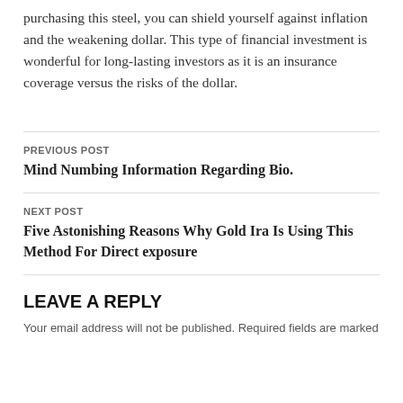purchasing this steel, you can shield yourself against inflation and the weakening dollar. This type of financial investment is wonderful for long-lasting investors as it is an insurance coverage versus the risks of the dollar.
PREVIOUS POST
Mind Numbing Information Regarding Bio.
NEXT POST
Five Astonishing Reasons Why Gold Ira Is Using This Method For Direct exposure
LEAVE A REPLY
Your email address will not be published. Required fields are marked